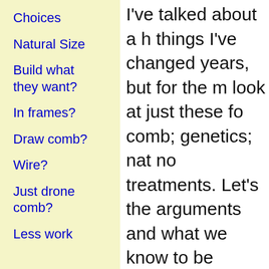Choices
Natural Size
Build what they want?
In frames?
Draw comb?
Wire?
Just drone comb?
Less work
I've talked about a h things I've changed years, but for the m look at just these fo comb; genetics; nat no treatments. Let's the arguments and what we know to be
Comb
I find all the argume size and whether it not help your Varroa